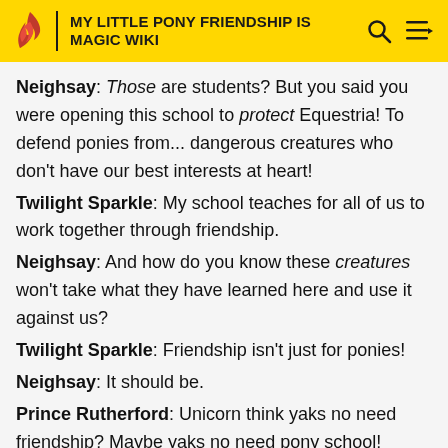MY LITTLE PONY FRIENDSHIP IS MAGIC WIKI
Neighsay: Those are students? But you said you were opening this school to protect Equestria! To defend ponies from... dangerous creatures who don't have our best interests at heart!
Twilight Sparkle: My school teaches for all of us to work together through friendship.
Neighsay: And how do you know these creatures won't take what they have learned here and use it against us?
Twilight Sparkle: Friendship isn't just for ponies!
Neighsay: It should be.
Prince Rutherford: Unicorn think yaks no need friendship? Maybe yaks no need pony school!
Neighsay: Well, perhaps you should return to your kind.
Ember: "Your kind"?! Smolder, let's go!
Seaspray: Queen Nova will want to hear of this!